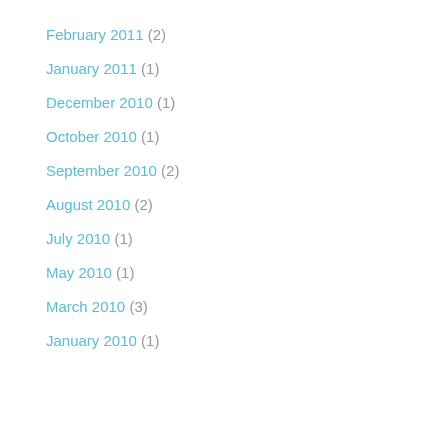February 2011 (2)
January 2011 (1)
December 2010 (1)
October 2010 (1)
September 2010 (2)
August 2010 (2)
July 2010 (1)
May 2010 (1)
March 2010 (3)
January 2010 (1)